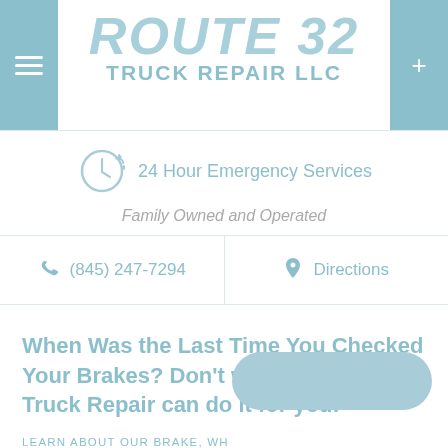ROUTE 32 TRUCK REPAIR LLC
24 Hour Emergency Services
Family Owned and Operated
(845) 247-7294
Directions
When Was the Last Time You Checked Your Brakes? Don't worry Route 32 Truck Repair can do it for you!
LEARN ABOUT OUR BRAKE, WH... REPAIR SERVICES IN SAUGERTIES, HUDSON VALLEY &